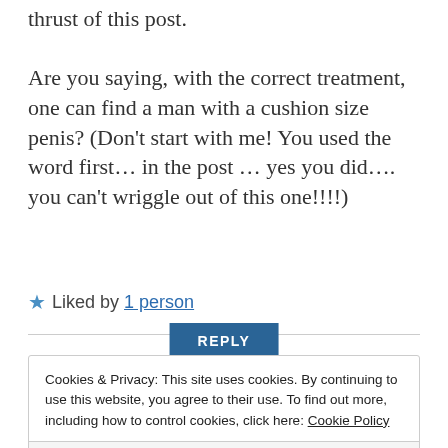thrust of this post. Are you saying, with the correct treatment, one can find a man with a cushion size penis? (Don't start with me! You used the word first… in the post … yes you did…. you can't wriggle out of this one!!!!)
★ Liked by 1 person
REPLY
[Figure (illustration): Partial view of a round yellow avatar/profile image at the top]
Cookies & Privacy: This site uses cookies. By continuing to use this website, you agree to their use. To find out more, including how to control cookies, click here: Cookie Policy
Accept & Close
my response, to be honest, I'd been